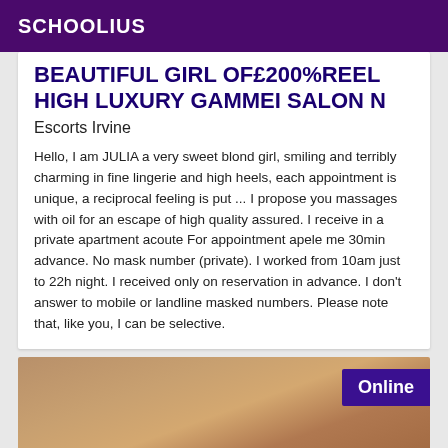SCHOOLIUS
BEAUTIFUL GIRL OF£200%REEL HIGH LUXURY GAMMEI SALON N
Escorts Irvine
Hello, I am JULIA a very sweet blond girl, smiling and terribly charming in fine lingerie and high heels, each appointment is unique, a reciprocal feeling is put ... I propose you massages with oil for an escape of high quality assured. I receive in a private apartment acoute For appointment apele me 30min advance. No mask number (private). I worked from 10am just to 22h night. I received only on reservation in advance. I don't answer to mobile or landline masked numbers. Please note that, like you, I can be selective.
[Figure (photo): Partial photo of a person with Online badge overlay]